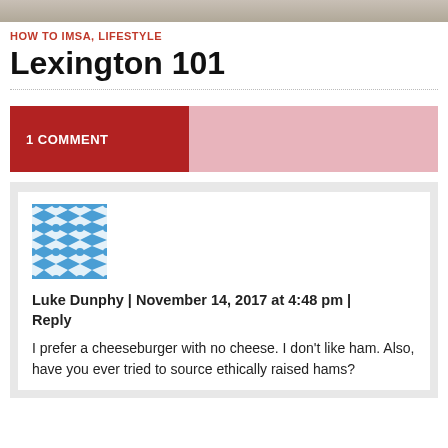[Figure (photo): Top banner image strip, partially visible grayscale photo]
HOW TO IMSA, LIFESTYLE
Lexington 101
1 COMMENT
Luke Dunphy | November 14, 2017 at 4:48 pm | Reply
I prefer a cheeseburger with no cheese. I don't like ham. Also, have you ever tried to source ethically raised hams?